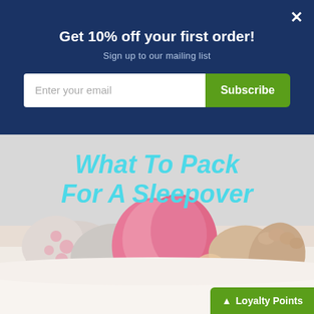Get 10% off your first order!
Sign up to our mailing list
[Figure (photo): Website popup with email subscription form on dark blue background, and below it a photo of children lying on a bed showing their feet in socks with text 'What To Pack For A Sleepover' overlaid in cyan italic bold font. A green Loyalty Points button appears in the bottom right corner.]